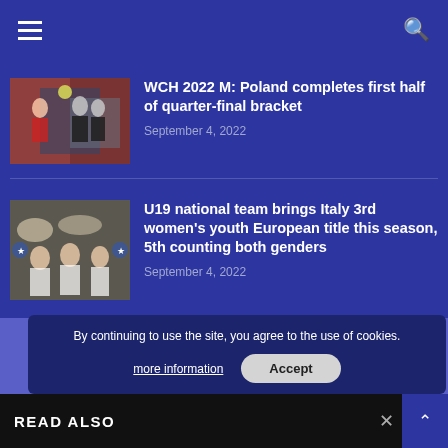Navigation bar with hamburger menu and search icon
WCH 2022 M: Poland completes first half of quarter-final bracket
September 4, 2022
U19 national team brings Italy 3rd women’s youth European title this season, 5th counting both genders
September 4, 2022
Privacy Policy  About us  Contact
Copyright © 2011-2021 World... All rights reserved.
By continuing to use the site, you agree to the use of cookies.
more information
Accept
READ ALSO